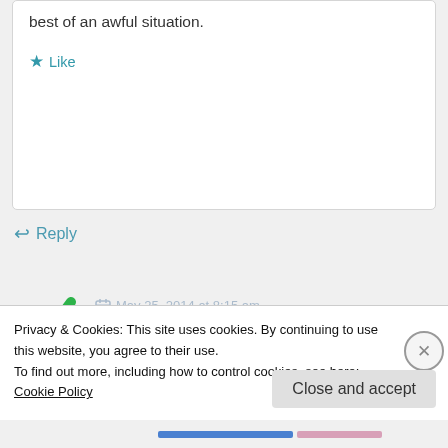best of an awful situation.
★ Like
↩ Reply
May 25, 2014 at 8:15 am
Virtually All Sorts of blogs in the weekly round-up 5 | VirtuallyAllSorts
Privacy & Cookies: This site uses cookies. By continuing to use this website, you agree to their use.
To find out more, including how to control cookies, see here: Cookie Policy
Close and accept